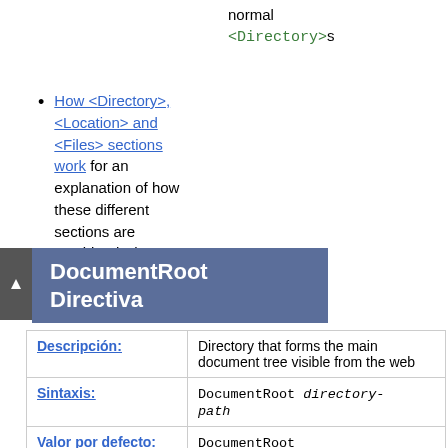normal <Directory>s
How <Directory>, <Location> and <Files> sections work for an explanation of how these different sections are combined when a request is received
DocumentRoot Directiva
| Descripción: | Directory that forms the main document tree visible from the web |
| --- | --- |
| Sintaxis: | DocumentRoot directory-path |
| Valor por defecto: | DocumentRoot /usr/local/apache/htdocs |
| Contexto: | server config, virtual host |
| Estado: | Core |